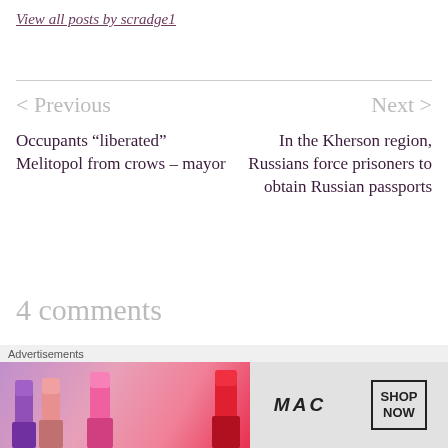View all posts by scradge1
< Previous
Occupants “liberated” Melitopol from crows – mayor
Next >
In the Kherson region, Russians force prisoners to obtain Russian passports
4 comments
[Figure (other): User avatar circle with dark blue/globe background]
1   1
[Figure (other): Close/dismiss button circle with X]
Advertisements
[Figure (other): MAC Cosmetics advertisement banner with lipsticks and SHOP NOW button]